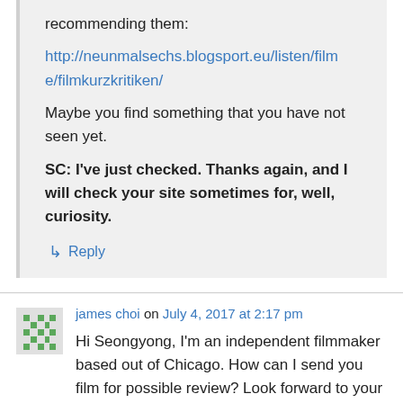recommending them:
http://neunmalsechs.blogsport.eu/listen/filme/filmkurzkritiken/
Maybe you find something that you have not seen yet.
SC: I've just checked. Thanks again, and I will check your site sometimes for, well, curiosity.
↳ Reply
james choi on July 4, 2017 at 2:17 pm
Hi Seongyong, I'm an independent filmmaker based out of Chicago. How can I send you film for possible review? Look forward to your